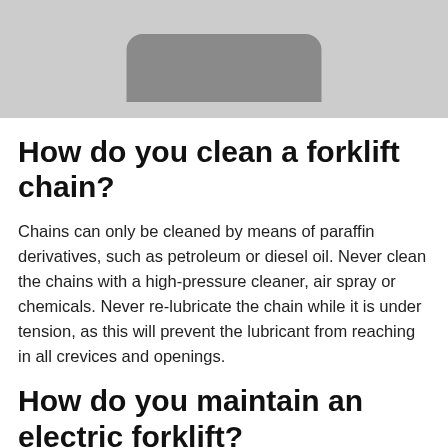[Figure (photo): Partial view of a forklift component (grey background with a rounded dark grey shape at bottom center, likely a forklift part)]
How do you clean a forklift chain?
Chains can only be cleaned by means of paraffin derivatives, such as petroleum or diesel oil. Never clean the chains with a high-pressure cleaner, air spray or chemicals. Never re-lubricate the chain while it is under tension, as this will prevent the lubricant from reaching in all crevices and openings.
How do you maintain an electric forklift?